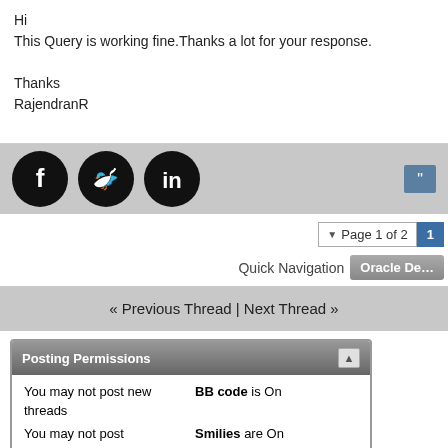Hi
This Query is working fine.Thanks a lot for your response.

Thanks
RajendranR
[Figure (illustration): Social media icons bar with Facebook, Twitter, LinkedIn buttons (black circles) and a quote button (blue) on the right]
Page 1 of 2
Quick Navigation   Oracle De...
« Previous Thread | Next Thread »
Posting Permissions
| You may not post new threads | BB code is On |
| You may not post replies | Smilies are On |
| You may not post attachments | [IMG] code is On |
| You may not edit your | [VIDEO] code is On |
|  | HTML code is On |